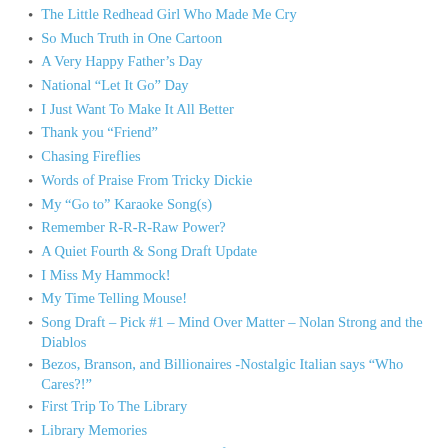The Little Redhead Girl Who Made Me Cry
So Much Truth in One Cartoon
A Very Happy Father's Day
National “Let It Go” Day
I Just Want To Make It All Better
Thank you “Friend”
Chasing Fireflies
Words of Praise From Tricky Dickie
My “Go to” Karaoke Song(s)
Remember R-R-R-Raw Power?
A Quiet Fourth & Song Draft Update
I Miss My Hammock!
My Time Telling Mouse!
Song Draft – Pick #1 – Mind Over Matter – Nolan Strong and the Diablos
Bezos, Branson, and Billionaires -Nostalgic Italian says “Who Cares?!”
First Trip To The Library
Library Memories
Gourd Ahead And Make Fun of Me
Happy 81st Birthday Bugs!
Song Draft – Pick #2 – East Bound and Down – Jerry Reed
Gimme a Brake!